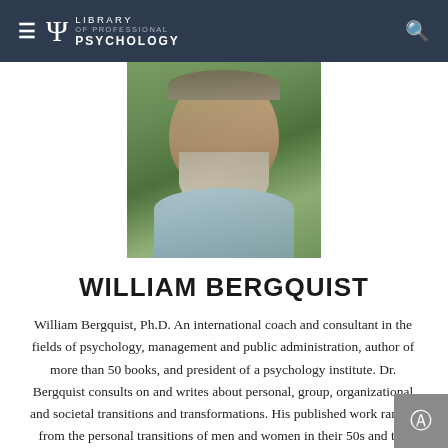Library of Professional Psychology
[Figure (photo): Headshot photo of William Bergquist, a middle-aged man with a gray beard wearing a light blue shirt, photographed outdoors with green foliage in the background.]
WILLIAM BERGQUIST
William Bergquist, Ph.D. An international coach and consultant in the fields of psychology, management and public administration, author of more than 50 books, and president of a psychology institute. Dr. Bergquist consults on and writes about personal, group, organizational and societal transitions and transformations. His published work ranges from the personal transitions of men and women in their 50s and the struggles of men and women in recovering from strokes to the experiences of freedom among the